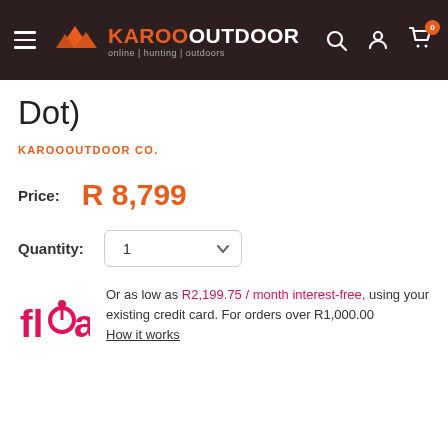KAROOOUTDOOR — online | hunting | outdoors
Dot)
KAROOOUTDOOR CO.
Price: R 8,799
Quantity: 1
Or as low as R2,199.75 / month interest-free, using your existing credit card. For orders over R1,000.00
How it works